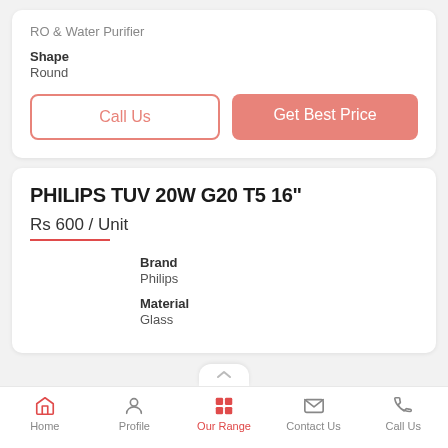RO & Water Purifier
Shape
Round
Call Us
Get Best Price
PHILIPS TUV 20W G20 T5 16"
Rs 600 / Unit
Brand
Philips
Material
Glass
Home   Profile   Our Range   Contact Us   Call Us